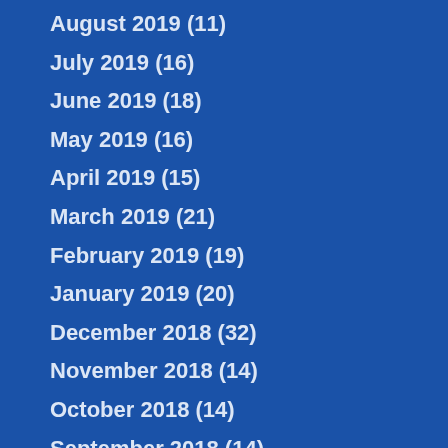August 2019 (11)
July 2019 (16)
June 2019 (18)
May 2019 (16)
April 2019 (15)
March 2019 (21)
February 2019 (19)
January 2019 (20)
December 2018 (32)
November 2018 (14)
October 2018 (14)
September 2018 (14)
August 2018 (13)
July 2018 (16)